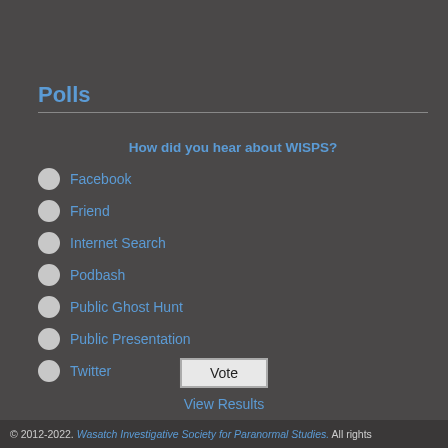Polls
How did you hear about WISPS?
Facebook
Friend
Internet Search
Podbash
Public Ghost Hunt
Public Presentation
Twitter
Vote
View Results
© 2012-2022. Wasatch Investigative Society for Paranormal Studies. All rights